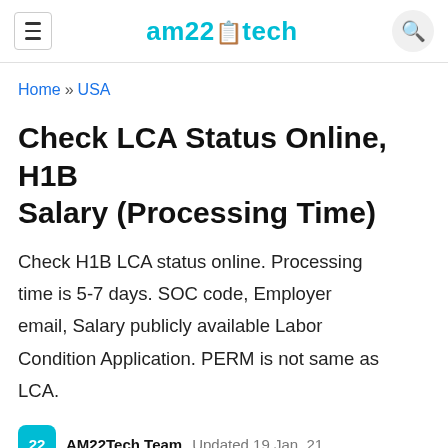am22tech
Home » USA
Check LCA Status Online, H1B Salary (Processing Time)
Check H1B LCA status online. Processing time is 5-7 days. SOC code, Employer email, Salary publicly available Labor Condition Application. PERM is not same as LCA.
AM22Tech Team  Updated 19 Jan, 21